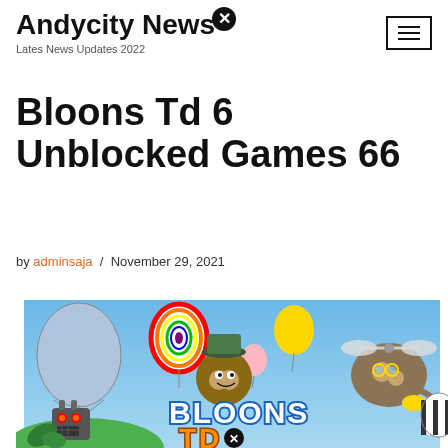Andycity News
Lates News Updates 2022
Bloons Td 6 Unblocked Games 66
by adminsaja / November 29, 2021
[Figure (illustration): Bloons TD 6 game promotional banner showing cartoon characters including a monkey in a hat, a robot, a flying squirrel in a helicopter, and colorful balloons on a blue sky background with the Bloons TD text logo]